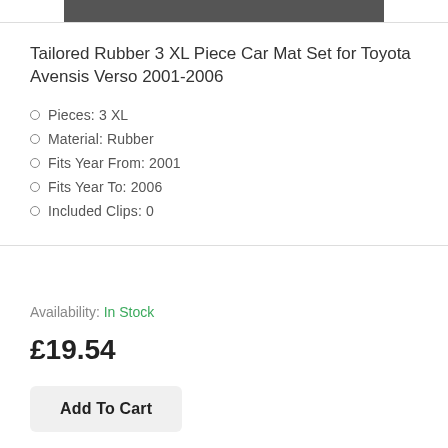[Figure (photo): Partial product image of car mats (cropped at top)]
Tailored Rubber 3 XL Piece Car Mat Set for Toyota Avensis Verso 2001-2006
Pieces: 3 XL
Material: Rubber
Fits Year From: 2001
Fits Year To: 2006
Included Clips: 0
Availability: In Stock
£19.54
Add To Cart